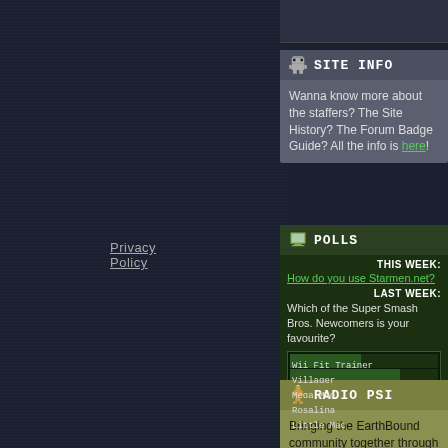Privacy Policy
Site Info
Wanna know more about the staffers? The Site History? The Forum Badge Guide? All the info is here!
Polls
THIS WEEK:
How do you use Starmen.net?
LAST WEEK:
Which of the Super Smash Bros. Newcomers is your favourite?
[Figure (bar-chart): Super Smash Bros. Newcomers poll]
Radio PSI
Bringing the EarthBound community together through the magic of music.